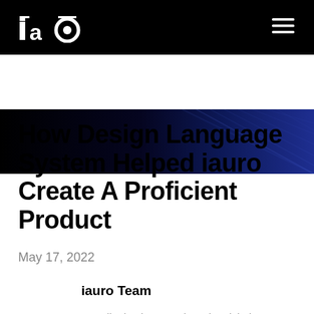iauro logo | navigation menu
[Figure (other): Dark hero banner with diagonal light ray lines on a dark navy/black gradient background]
How Design Language System Helped iauro Create A Proficient Product
May 17, 2022
iauro Team
Contributing immensely to the global